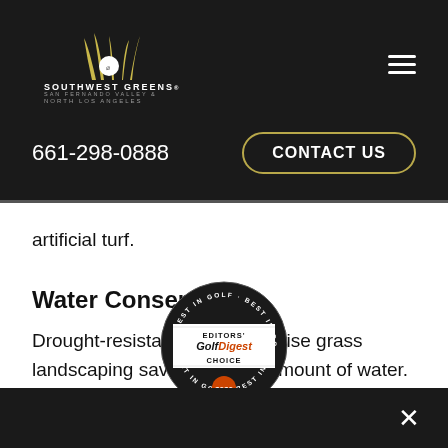[Figure (logo): Southwest Greens logo with grass/golf ball icon and text: SOUTHWEST GREENS, SAN FERNANDO VALLEY & NORTH LOS ANGELES]
661-298-0888
CONTACT US
artificial turf.
Water Conservation
Drought-resistant and water-wise grass landscaping saves an huge amount of water. This is especially true for metered water areas where water is limited. According to the EPA, the American family
[Figure (logo): Golf Digest Editors' Choice Best in Golf 2020 badge/seal]